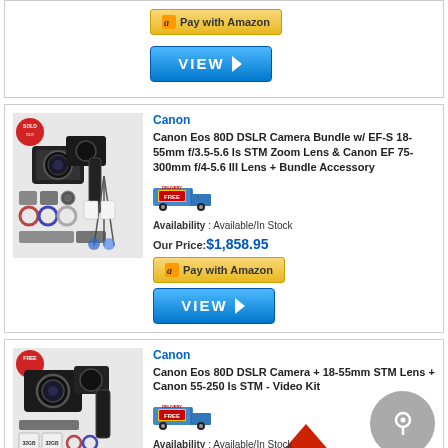[Figure (screenshot): Top partial product card showing Amazon Pay button and blue VIEW button]
[Figure (screenshot): Canon camera bundle product image with accessories]
Canon
Canon Eos 80D DSLR Camera Bundle w/ EF-S 18-55mm f/3.5-5.6 Is STM Zoom Lens & Canon EF 75-300mm f/4-5.6 III Lens + Bundle Accessory
[Figure (infographic): Free shipping truck icon]
Availability : Available/In Stock
Our Price:$1,858.95
[Figure (screenshot): Pay with Amazon button]
[Figure (screenshot): Blue VIEW button]
[Figure (screenshot): Canon camera product image for second listing]
Canon
Canon Eos 80D DSLR Camera + 18-55mm STM Lens + Canon 55-250 Is STM - Video Kit
[Figure (infographic): Free shipping truck icon]
Availability : Available/In Stock